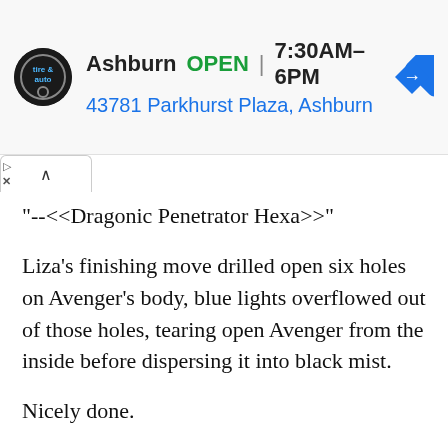[Figure (screenshot): Advertisement banner for Ashburn tire & auto shop showing logo, OPEN status, hours 7:30AM-6PM, address 43781 Parkhurst Plaza Ashburn, and a blue navigation arrow icon]
"--<<Dragonic Penetrator Hexa>>"
Liza's finishing move drilled open six holes on Avenger's body, blue lights overflowed out of those holes, tearing open Avenger from the inside before dispersing it into black mist.
Nicely done.
They managed to defeat an opponent stronger than an average demon lord without a hitch.